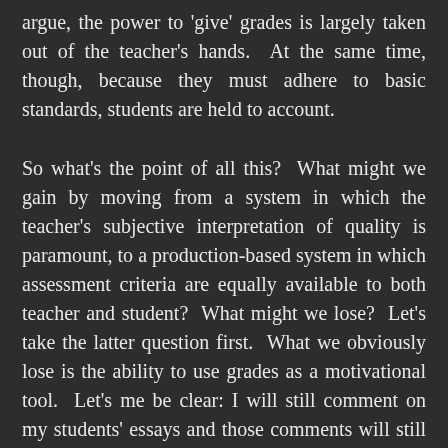argue, the power to 'give' grades is largely taken out of the teacher's hands. At the same time, though, because they must adhere to basic standards, students are held to account.
So what's the point of all this? What might we gain by moving from a system in which the teacher's subjective interpretation of quality is paramount, to a production-based system in which assessment criteria are equally available to both teacher and student? What might we lose? Let's take the latter question first. What we obviously lose is the ability to use grades as a motivational tool. Let's me be clear: I will still comment on my students' essays and those comments will still be designed to move my students towards the type of writing and thinking I like and value. The only difference is that now, my words won't be backed by the force of a grade book. I honestly don't know what the results of this might be. I worry that without it, some students